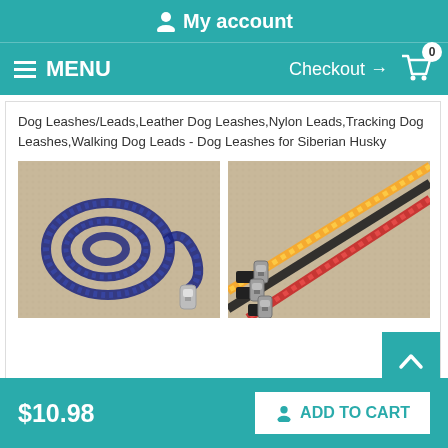My account
MENU   Checkout → 0
Dog Leashes/Leads,Leather Dog Leashes,Nylon Leads,Tracking Dog Leashes,Walking Dog Leads - Dog Leashes for Siberian Husky
[Figure (photo): Blue braided rope dog leash coiled on a beige textured mat with a silver clip/carabiner.]
[Figure (photo): Three rope dog leashes in yellow, black, and red colors lying parallel on a textured mat, each with a silver clip.]
$10.98
ADD TO CART